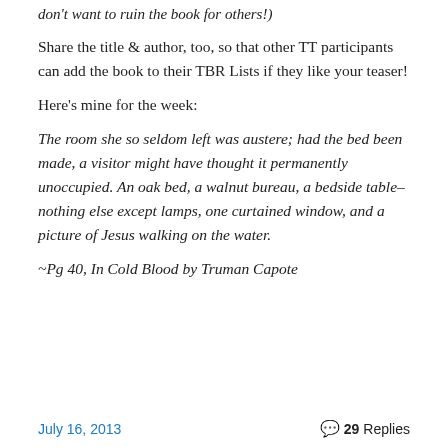don't want to ruin the book for others!)
Share the title & author, too, so that other TT participants can add the book to their TBR Lists if they like your teaser!
Here's mine for the week:
The room she so seldom left was austere; had the bed been made, a visitor might have thought it permanently unoccupied. An oak bed, a walnut bureau, a bedside table–nothing else except lamps, one curtained window, and a picture of Jesus walking on the water.
~Pg 40, In Cold Blood by Truman Capote
July 16, 2013    29 Replies